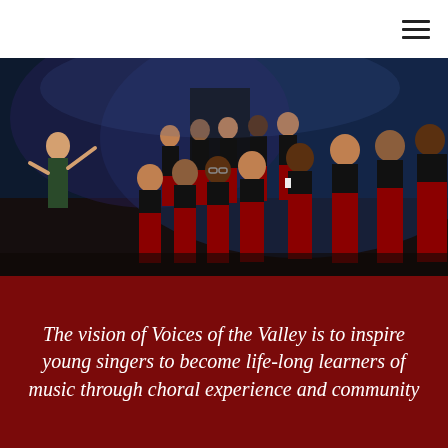[Figure (photo): A choir of young singers in black tops and long red skirts/trousers performing on a stage. A conductor stands at the left with arms raised directing the group. Stage lighting illuminates the performers from above and behind.]
The vision of Voices of the Valley is to inspire young singers to become life-long learners of music through choral experience and community